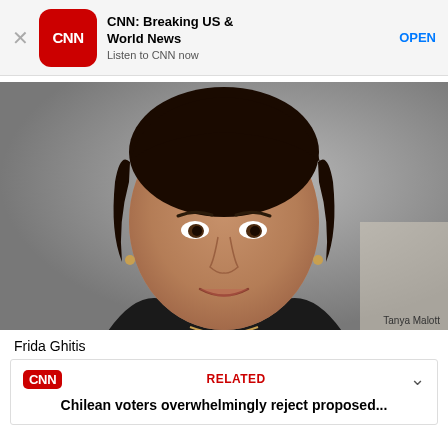[Figure (screenshot): CNN app advertisement banner with CNN logo, title 'CNN: Breaking US & World News', subtitle 'Listen to CNN now', and OPEN button]
[Figure (photo): Portrait photograph of Frida Ghitis, a woman with short dark hair, wearing a dark blazer, photographed against a gray background. Photo credit: Tanya Malott]
Tanya Malott
Frida Ghitis
[Figure (screenshot): CNN Related article box with CNN logo, RELATED label, and headline 'Chilean voters overwhelmingly reject proposed...' with a chevron/expand icon]